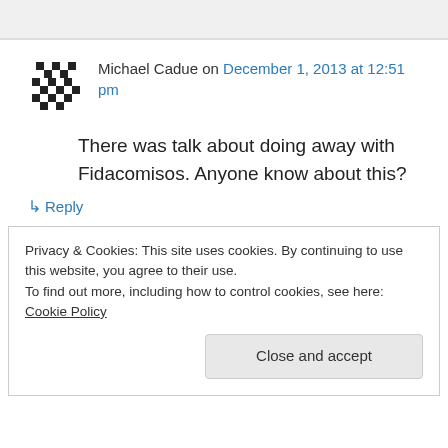[Figure (other): Gray top bar area (partial UI)]
Michael Cadue on December 1, 2013 at 12:51 pm
There was talk about doing away with Fidacomisos. Anyone know about this?
↳ Reply
Privacy & Cookies: This site uses cookies. By continuing to use this website, you agree to their use.
To find out more, including how to control cookies, see here: Cookie Policy
Close and accept